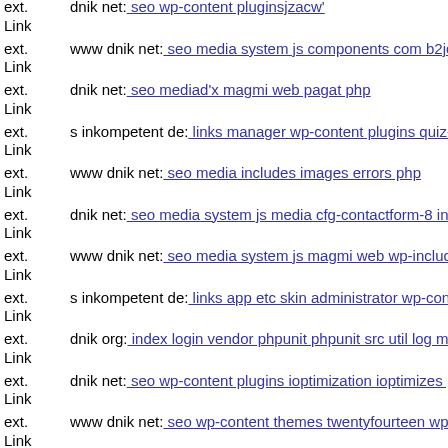ext. Link dnik net: seo wp-content pluginsjzacw'
ext. Link www dnik net: seo media system js components com b2jcontact
ext. Link dnik net: seo mediad'x magmi web pagat php
ext. Link s inkompetent de: links manager wp-content plugins quiz-master
ext. Link www dnik net: seo media includes images errors php
ext. Link dnik net: seo media system js media cfg-contactform-8 inc ima
ext. Link www dnik net: seo media system js magmi web wp-includes w
ext. Link s inkompetent de: links app etc skin administrator wp-content t
ext. Link dnik org: index login vendor phpunit phpunit src util log mail i
ext. Link dnik net: seo wp-content plugins ioptimization ioptimizes php
ext. Link www dnik net: seo wp-content themes twentyfourteen wp-cont
ext. Link dnik net: seo mediaq'dnyac